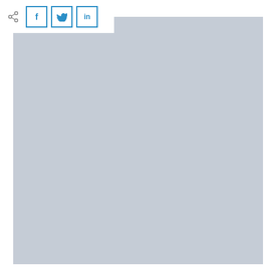[Figure (screenshot): A social media share toolbar with a share icon followed by three social share buttons for Facebook (f), Twitter (bird icon), and LinkedIn (in), displayed at the top left over a white background. Below the toolbar is a large gray-blue rectangular image placeholder area.]